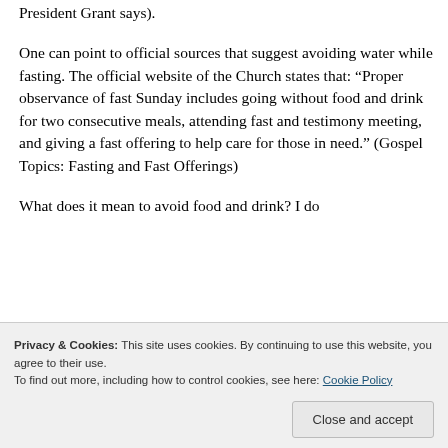President Grant says).
One can point to official sources that suggest avoiding water while fasting. The official website of the Church states that: “Proper observance of fast Sunday includes going without food and drink for two consecutive meals, attending fast and testimony meeting, and giving a fast offering to help care for those in need.” (Gospel Topics: Fasting and Fast Offerings)
What does it mean to avoid food and drink? I do
arguing that they are not “food or drink.” But I
Privacy & Cookies: This site uses cookies. By continuing to use this website, you agree to their use.
To find out more, including how to control cookies, see here: Cookie Policy